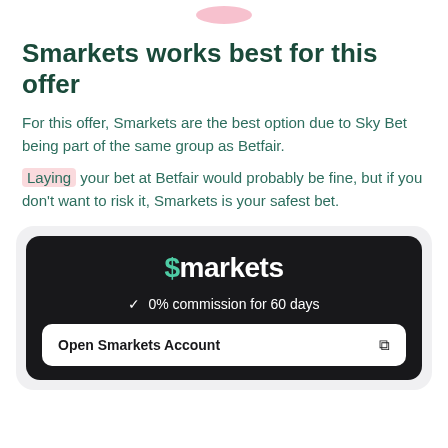[Figure (logo): Partial pink logo at the top center of the page]
Smarkets works best for this offer
For this offer, Smarkets are the best option due to Sky Bet being part of the same group as Betfair.
Laying your bet at Betfair would probably be fine, but if you don't want to risk it, Smarkets is your safest bet.
[Figure (infographic): Dark card showing Smarkets logo, '0% commission for 60 days' and 'Open Smarkets Account' button]